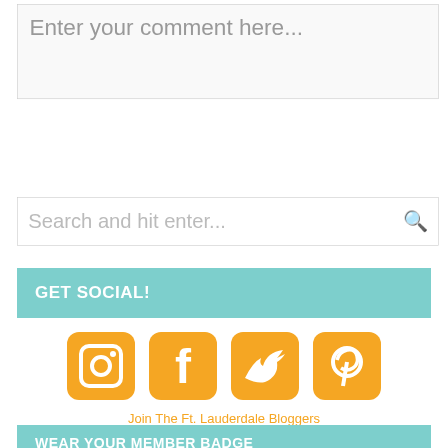Enter your comment here...
Search and hit enter...
GET SOCIAL!
[Figure (infographic): Four orange social media icons: Instagram, Facebook, Twitter, Pinterest]
Join The Ft. Lauderdale Bloggers Facebook Group!
WEAR YOUR MEMBER BADGE